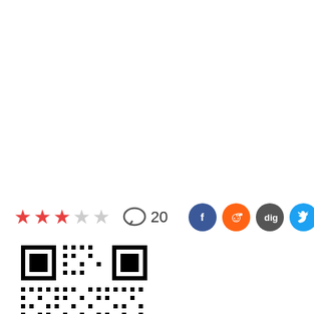[Figure (infographic): Rating row with 3 filled red stars and 2 empty stars (out of 5), a comment bubble icon with the number 20, and four social media share icons: Facebook (blue), Reddit (orange), Digg (dark gray), Twitter (light blue)]
[Figure (other): A QR code in black and white, square format, with finder patterns in top-left and top-right corners]